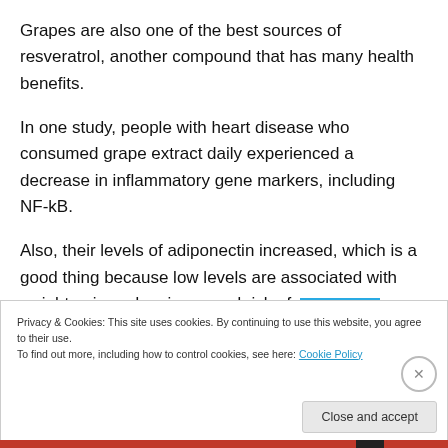Grapes are also one of the best sources of resveratrol, another compound that has many health benefits.
In one study, people with heart disease who consumed grape extract daily experienced a decrease in inflammatory gene markers, including NF-kB.
Also, their levels of adiponectin increased, which is a good thing because low levels are associated with weight gain and an increased risk of cancer.
Privacy & Cookies: This site uses cookies. By continuing to use this website, you agree to their use.
To find out more, including how to control cookies, see here: Cookie Policy
Close and accept